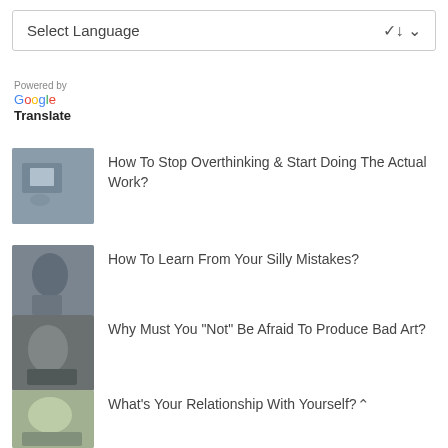Select Language ∨
Powered by
Google
Translate
How To Stop Overthinking & Start Doing The Actual Work?
How To Learn From Your Silly Mistakes?
Why Must You "Not" Be Afraid To Produce Bad Art?
What's Your Relationship With Yourself?
How To Nurture The Artist Within You?